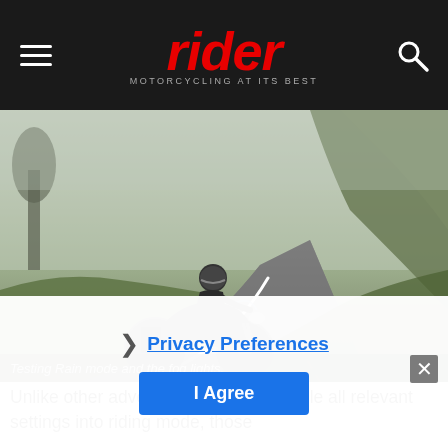rider — MOTORCYCLING AT ITS BEST
[Figure (photo): Motorcyclist riding an adventure bike on a winding road through foggy, misty landscape with trees and green hillside cliffs in the background. Testing Rain mode and fog lights.]
Testing Rain mode and the fog lights.
Unlike other adventure bikes that bundle all relevant settings into riding mode, those
Privacy Preferences
I Agree